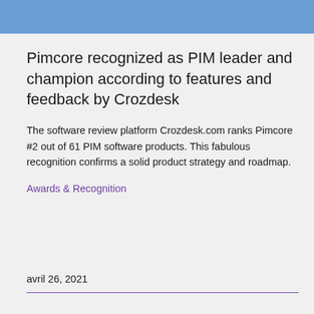Pimcore recognized as PIM leader and champion according to features and feedback by Crozdesk
The software review platform Crozdesk.com ranks Pimcore #2 out of 61 PIM software products. This fabulous recognition confirms a solid product strategy and roadmap.
Awards & Recognition
avril 26, 2021